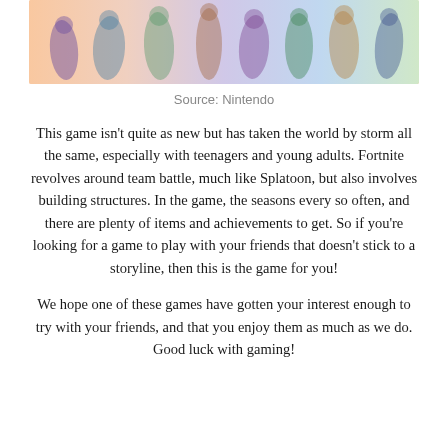[Figure (photo): A group of colorful video game characters (from Fortnite) posed together against a light gradient background.]
Source: Nintendo
This game isn't quite as new but has taken the world by storm all the same, especially with teenagers and young adults. Fortnite revolves around team battle, much like Splatoon, but also involves building structures. In the game, the seasons every so often, and there are plenty of items and achievements to get. So if you're looking for a game to play with your friends that doesn't stick to a storyline, then this is the game for you!
We hope one of these games have gotten your interest enough to try with your friends, and that you enjoy them as much as we do. Good luck with gaming!